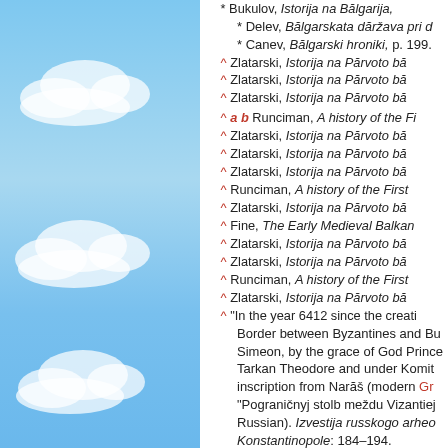42. * Bukulov, Istorija na Bălgarija, ... * Delev, Bălgarskata dăržava pri d... * Canev, Bălgarski hroniki, p. 199.
43. ^ Zlatarski, Istorija na Părvoto bă...
44. ^ Zlatarski, Istorija na Părvoto bă...
45. ^ Zlatarski, Istorija na Părvoto bă...
46. ^ a b Runciman, A history of the Fi...
47. ^ Zlatarski, Istorija na Părvoto bă...
48. ^ Zlatarski, Istorija na Părvoto bă...
49. ^ Zlatarski, Istorija na Părvoto bă...
50. ^ Runciman, A history of the First ...
51. ^ Zlatarski, Istorija na Părvoto bă...
52. ^ Fine, The Early Medieval Balkan...
53. ^ Zlatarski, Istorija na Părvoto bă...
54. ^ Zlatarski, Istorija na Părvoto bă...
55. ^ Runciman, A history of the First ...
56. ^ Zlatarski, Istorija na Părvoto bă...
57. ^ "In the year 6412 since the creati... Border between Byzantines and Bu... Simeon, by the grace of God Prince... Tarkan Theodore and under Komit... inscription from Narăš (modern Gr... "Pograničnyj stolb meždu Vizantiej... Russian). Izvestija russkogo arheo... Konstantinopole: 184–194.
58. ^ Todt, Biographisch-Bibliographi... * Runciman, A history of the First ... * Zlatarski, Istorija na Părvoto bă... * Băl...